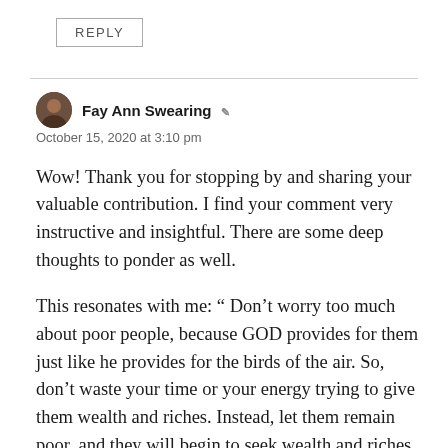REPLY
Fay Ann Swearing
October 15, 2020 at 3:10 pm
Wow! Thank you for stopping by and sharing your valuable contribution. I find your comment very instructive and insightful. There are some deep thoughts to ponder as well.
This resonates with me: “ Don’t worry too much about poor people, because GOD provides for them just like he provides for the birds of the air. So, don’t waste your time or your energy trying to give them wealth and riches. Instead, let them remain poor, and they will begin to seek wealth and riches on their own when they are good and ready”